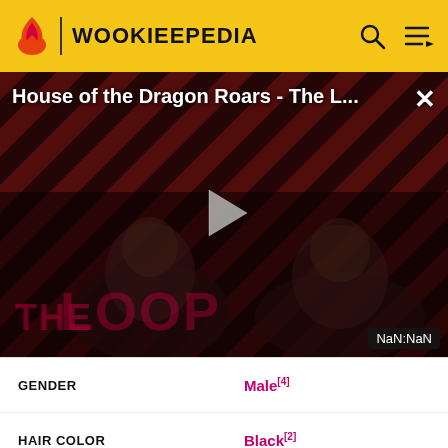WOOKIEEPEDIA
[Figure (screenshot): Video player thumbnail showing 'House of the Dragon Roars - The L...' with a play button in center, two silhouetted figures visible, THE LOOP branding text, and NaN:NaN timer badge in bottom right. Red and black diagonal stripe pattern background.]
| Attribute | Value |
| --- | --- |
| GENDER | Male[4] |
| HAIR COLOR | Black[2] |
| SKIN COLOR | Brown[2] |